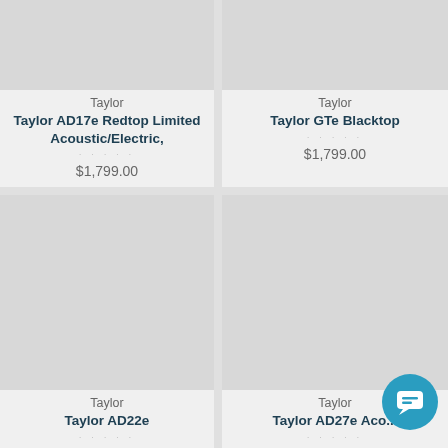[Figure (screenshot): Product listing grid of Taylor guitars on an e-commerce mobile app, showing 4 products in a 2x2 grid]
Taylor
Taylor AD17e Redtop Limited Acoustic/Electric,
$1,799.00
Taylor
Taylor GTe Blacktop
$1,799.00
Taylor
Taylor AD22e
$1,699.00
Taylor
Taylor AD27e Acoustic/Electric, Natural